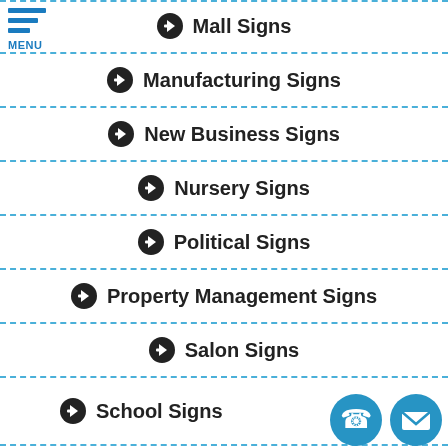[Figure (logo): Hamburger menu icon with three blue horizontal bars and MENU label in blue]
➔ Mall Signs
➔ Manufacturing Signs
➔ New Business Signs
➔ Nursery Signs
➔ Political Signs
➔ Property Management Signs
➔ Salon Signs
➔ School Signs
[Figure (illustration): Phone icon in blue circle and email/envelope icon in blue circle at bottom right]